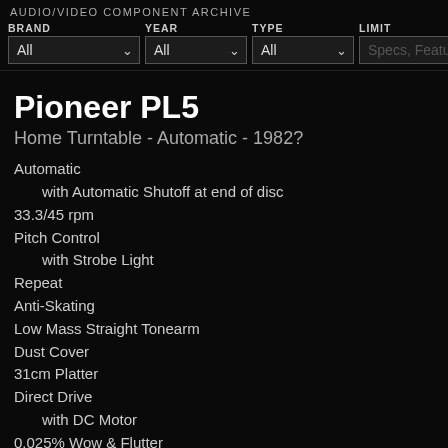AUDIO/VIDEO COMPONENT ARCHIVE
BRAND All  YEAR All  TYPE All  LIMIT Specs, Features, et
Pioneer PL5
Home Turntable - Automatic - 1982?
Automatic
with Automatic Shutoff at end of disc
33.3/45 rpm
Pitch Control
with Strobe Light
Repeat
Anti-Skating
Low Mass Straight Tonearm
Dust Cover
31cm Platter
Direct Drive
with DC Motor
0.025% Wow & Flutter
S/N Ratio: 78 dB
Champaign Chassis
420 x 108 x 367mm WHD